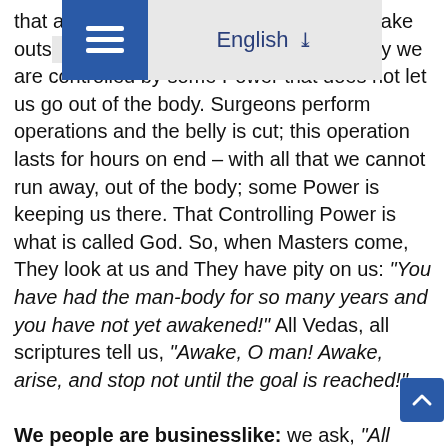that attenti[on]… [wherever] we are awake outs[ide]… You know, in the man-body we are controlled by some Power that does not let us go out of the body. Surgeons perform operations and the belly is cut; this operation lasts for hours on end – with all that we cannot run away, out of the body; some Power is keeping us there. That Controlling Power is what is called God. So, when Masters come, They look at us and They have pity on us: “You have had the man-body for so many years and you have not yet awakened!” All Vedas, all scriptures tell us, “Awake, O man! Awake, arise, and stop not until the goal is reached!”
We people are businesslike: we ask, “All right – if I awaken, what will we get?” For that reason, Masters